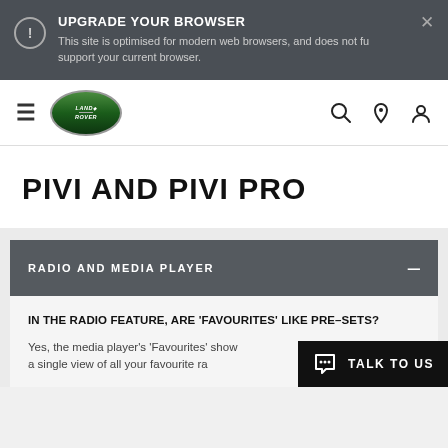UPGRADE YOUR BROWSER — This site is optimised for modern web browsers, and does not fully support your current browser.
[Figure (logo): Land Rover oval green logo in navigation bar]
PIVI AND PIVI PRO
RADIO AND MEDIA PLAYER
IN THE RADIO FEATURE, ARE 'FAVOURITES' LIKE PRE-SETS?
Yes, the media player's 'Favourites' shows a single view of all your favourite ra...